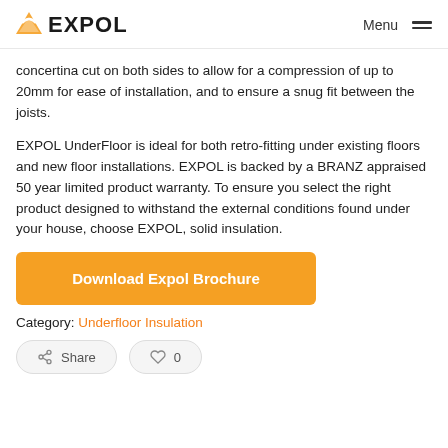EXPOL | Menu
concertina cut on both sides to allow for a compression of up to 20mm for ease of installation, and to ensure a snug fit between the joists.
EXPOL UnderFloor is ideal for both retro-fitting under existing floors and new floor installations. EXPOL is backed by a BRANZ appraised 50 year limited product warranty. To ensure you select the right product designed to withstand the external conditions found under your house, choose EXPOL, solid insulation.
[Figure (other): Orange button labeled 'Download Expol Brochure']
Category: Underfloor Insulation
[Figure (other): Share button and heart/like button showing 0 likes]